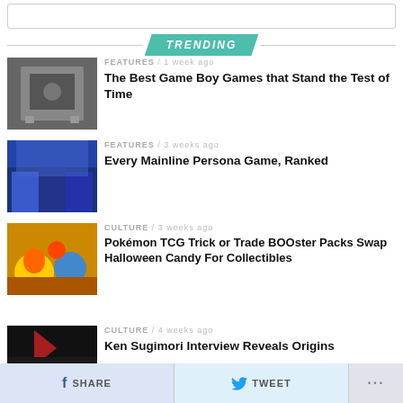TRENDING
[Figure (photo): Black and white photo of hands holding a Game Boy]
FEATURES / 1 week ago
The Best Game Boy Games that Stand the Test of Time
[Figure (photo): Anime characters from Persona series sitting on a couch]
FEATURES / 3 weeks ago
Every Mainline Persona Game, Ranked
[Figure (photo): Pokémon TCG Halloween themed booster packs with candy]
CULTURE / 3 weeks ago
Pokémon TCG Trick or Trade BOOster Packs Swap Halloween Candy For Collectibles
[Figure (photo): Dark image related to Ken Sugimori interview]
CULTURE / 4 weeks ago
Ken Sugimori Interview Reveals Origins